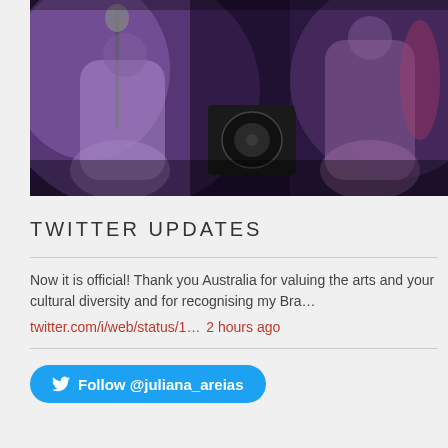[Figure (photo): A photo of performers on a dark stage with purple/lavender lighting. Two figures are visible wearing light-colored outfits, with a black speaker/amplifier visible in the center background.]
TWITTER UPDATES
Now it is official! Thank you Australia for valuing the arts and your cultural diversity and for recognising my Bra…
twitter.com/i/web/status/1… 2 hours ago
Follow @juliana_areias